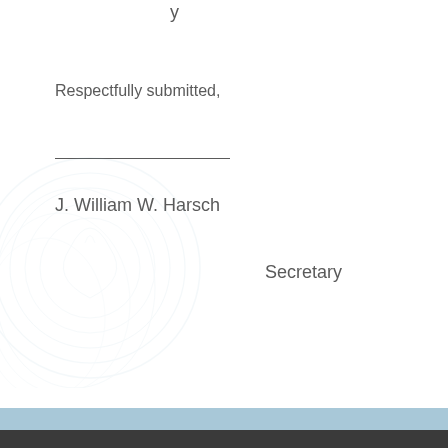y
Respectfully submitted,
J. William W. Harsch
Secretary
[Figure (illustration): Faint circular watermark/seal graphic in bottom-left corner]